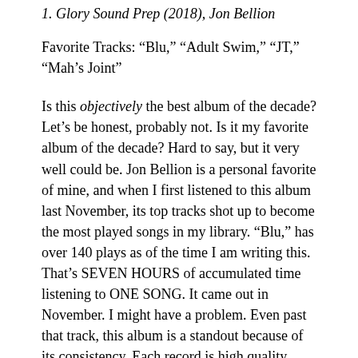1. Glory Sound Prep (2018), Jon Bellion
Favorite Tracks: “Blu,” “Adult Swim,” “JT,” “Mah’s Joint”
Is this objectively the best album of the decade? Let’s be honest, probably not. Is it my favorite album of the decade? Hard to say, but it very well could be. Jon Bellion is a personal favorite of mine, and when I first listened to this album last November, its top tracks shot up to become the most played songs in my library. “Blu,” has over 140 plays as of the time I am writing this. That’s SEVEN HOURS of accumulated time listening to ONE SONG. It came out in November. I might have a problem. Even past that track, this album is a standout because of its consistency. Each record is high quality, incredibly produced, beautifully arranged—and unbelievably catchy. It is ten tracks, 44 minutes long, and there’s not a dud on